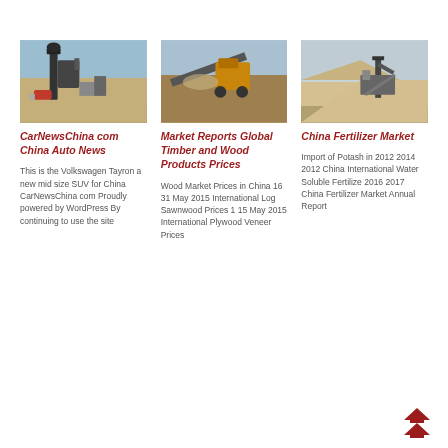[Figure (photo): Industrial machinery/equipment at a site with blue sky background]
CarNewsChina com China Auto News
This is the Volkswagen Tayron a new mid size SUV for China CarNewsChina com Proudly powered by WordPress By continuing to use the site
[Figure (photo): Conveyor belt with excavator at a quarry or mining site]
Market Reports Global Timber and Wood Products Prices
Wood Market Prices in China 16 31 May 2015 International Log Sawnwood Prices 1 15 May 2015 International Plywood Veneer Prices
[Figure (photo): Mining site with equipment and sandy hills in background]
China Fertilizer Market
Import of Potash in 2012 2014 2012 China International Water Soluble Fertilize 2016 2017 China Fertilizer Market Annual Report